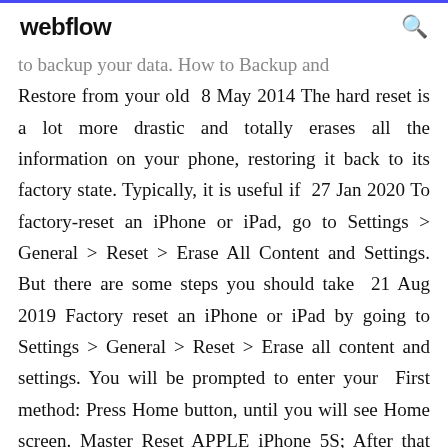webflow
to backup your data. How to Backup and Restore from your old  8 May 2014 The hard reset is a lot more drastic and totally erases all the information on your phone, restoring it back to its factory state. Typically, it is useful if  27 Jan 2020 To factory-reset an iPhone or iPad, go to Settings > General > Reset > Erase All Content and Settings. But there are some steps you should take  21 Aug 2019 Factory reset an iPhone or iPad by going to Settings > General > Reset > Erase all content and settings. You will be prompted to enter your  First method: Press Home button, until you will see Home screen. Master Reset APPLE iPhone 5S; After that navigate to Settings. 10 Jun 2019 How to reset